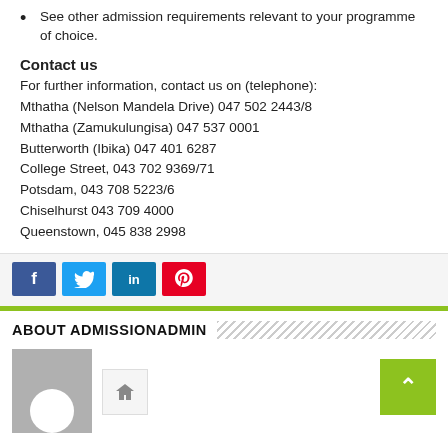See other admission requirements relevant to your programme of choice.
Contact us
For further information, contact us on (telephone):
Mthatha (Nelson Mandela Drive) 047 502 2443/8
Mthatha (Zamukulungisa) 047 537 0001
Butterworth (Ibika) 047 401 6287
College Street, 043 702 9369/71
Potsdam, 043 708 5223/6
Chiselhurst 043 709 4000
Queenstown, 045 838 2998
[Figure (other): Social media share buttons: Facebook (blue), Twitter (light blue), LinkedIn (teal blue), Pinterest (red)]
ABOUT ADMISSIONADMIN
[Figure (photo): Avatar placeholder image (grey with white circle silhouette) and a home icon button, with a green back-to-top button on the right]